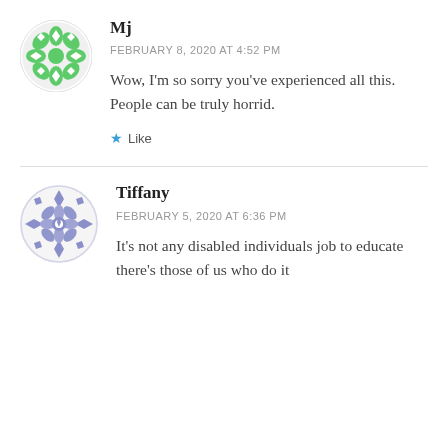[Figure (illustration): Green geometric snowflake/mandala avatar icon for user Mj]
Mj
FEBRUARY 8, 2020 AT 4:52 PM
Wow, I'm so sorry you've experienced all this. People can be truly horrid.
★ Like
[Figure (illustration): Purple/blue geometric snowflake/mandala avatar icon for user Tiffany]
Tiffany
FEBRUARY 5, 2020 AT 6:36 PM
It's not any disabled individuals job to educate there's those of us who do it